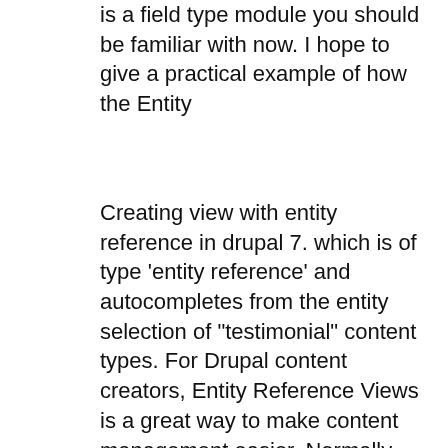is a field type module you should be familiar with now. I hope to give a practical example of how the Entity
Creating view with entity reference in drupal 7. which is of type 'entity reference' and autocompletes from the entity selection of "testimonial" content types. For Drupal content creators, Entity Reference Views is a great way to make content management easier. Normally, when users create content on the site,
So finally we architect to create the custom Drupal 8 entity types. Here in this tutorial, we will go through how to create custom Entity type in Drupal 8.